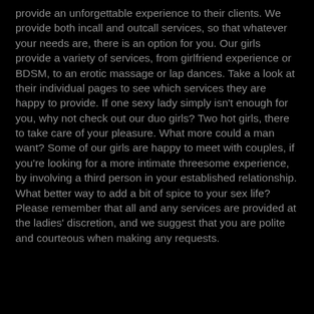provide an unforgettable experience to their clients. We provide both incall and outcall services, so that whatever your needs are, there is an option for you. Our girls provide a variety of services, from girlfriend experience or BDSM, to an erotic massage or lap dances. Take a look at their individual pages to see which services they are happy to provide. If one sexy lady simply isn't enough for you, why not check out our duo girls? Two hot girls, there to take care of your pleasure. What more could a man want? Some of our girls are happy to meet with couples, if you're looking for a more intimate threesome experience, by involving a third person in your established relationship. What better way to add a bit of spice to your sex life? Please remember that all and any services are provided at the ladies' discretion, and we suggest that you are polite and courteous when making any requests.